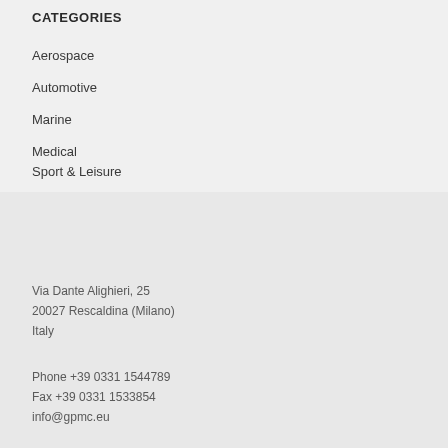CATEGORIES
Aerospace
Automotive
Marine
Medical
Sport & Leisure
Via Dante Alighieri, 25
20027 Rescaldina (Milano)
Italy
Phone +39 0331 1544789
Fax +39 0331 1533854
info@gpmc.eu